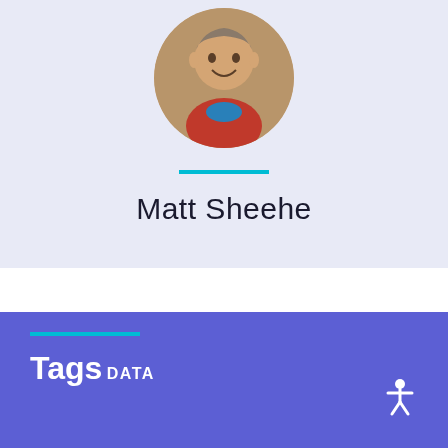[Figure (photo): Circular profile photo of Matt Sheehe, a man wearing a red shirt, smiling, against a brick background]
Matt Sheehe
Tags
DATA